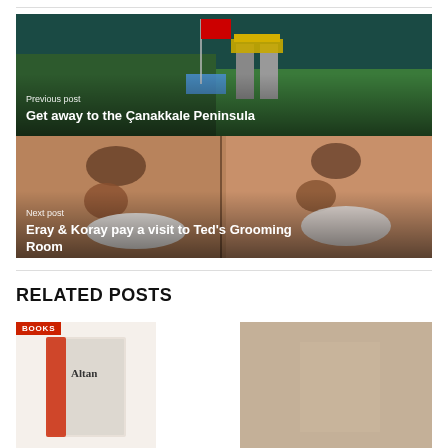[Figure (photo): Aerial photo of Çanakkale Peninsula with red Turkish flag, monument, trees and sea]
Previous post
Get away to the Çanakkale Peninsula
[Figure (photo): Close-up photo of two men's faces with shaving cream]
Next post
Eray & Koray pay a visit to Ted's Grooming Room
RELATED POSTS
[Figure (photo): Book cover thumbnail with 'Altan' text visible]
[Figure (photo): Another related post thumbnail image]